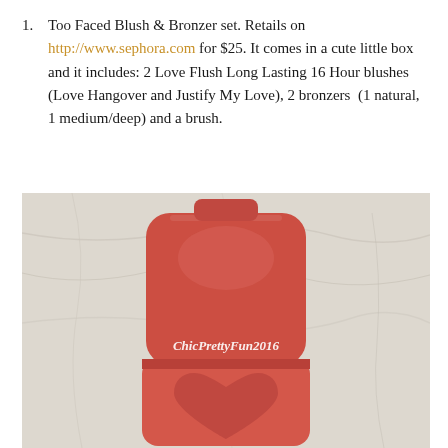Too Faced Blush & Bronzer set. Retails on http://www.sephora.com for $25. It comes in a cute little box and it includes: 2 Love Flush Long Lasting 16 Hour blushes (Love Hangover and Justify My Love), 2 bronzers (1 natural, 1 medium/deep) and a brush.
[Figure (photo): A coral/red Too Faced blush compact shown open with the lid up, resting on a marble surface. The compact has a heart-shaped pan cutout in the bottom. The watermark text 'ChicPrettyFun2016' appears in white script on the compact.]